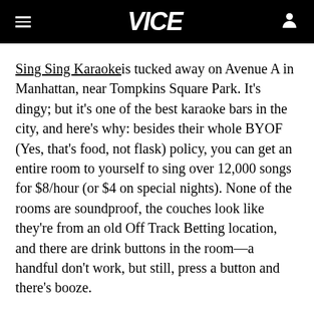VICE
Sing Sing Karaoke is tucked away on Avenue A in Manhattan, near Tompkins Square Park. It's dingy; but it's one of the best karaoke bars in the city, and here's why: besides their whole BYOF (Yes, that's food, not flask) policy, you can get an entire room to yourself to sing over 12,000 songs for $8/hour (or $4 on special nights). None of the rooms are soundproof, the couches look like they're from an old Off Track Betting location, and there are drink buttons in the room—a handful don't work, but still, press a button and there's booze.